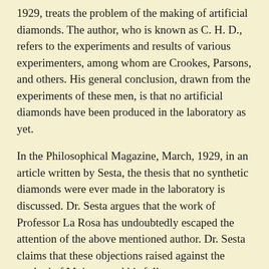1929, treats the problem of the making of artificial diamonds. The author, who is known as C. H. D., refers to the experiments and results of various experimenters, among whom are Crookes, Parsons, and others. His general conclusion, drawn from the experiments of these men, is that no artificial diamonds have been produced in the laboratory as yet.
In the Philosophical Magazine, March, 1929, in an article written by Sesta, the thesis that no synthetic diamonds were ever made in the laboratory is discussed. Dr. Sesta argues that the work of Professor La Rosa has undoubtedly escaped the attention of the above mentioned author. Dr. Sesta claims that these objections raised against the method of Moissan and his followers are groundless so far as the case has been examined. He further states that the results of the experiments and the accuracy of method are sure proofs which lead him to withdraw from the ultimate conclusion arrived at by C. H. D.